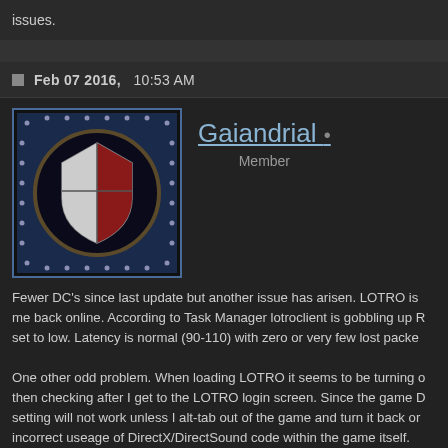issues.
Feb 07 2016,   10:53 AM
Gaiandrial • Member
Fewer DC's since last update but another issue has arisen. LOTRO is me back online. According to Task Manager lotroclient is gobbling up R set to low. Latency is normal (90-110) with zero or very few lost packe

One other odd problem. When loading LOTRO it seems to be turning o then checking after I get to the LOTRO login screen. Since the game D setting will not work unless I alt-tab out of the game and turn it back or incorrect useage of DirectX/DirectSound code within the game itself.
----------------------------
Windows 7 - 64-bit
Xeon 2.4 GHz quad-core processor
8GB DDR3 RAM
Soundblaster X-Fi Go! Pro
GeForce GT 420